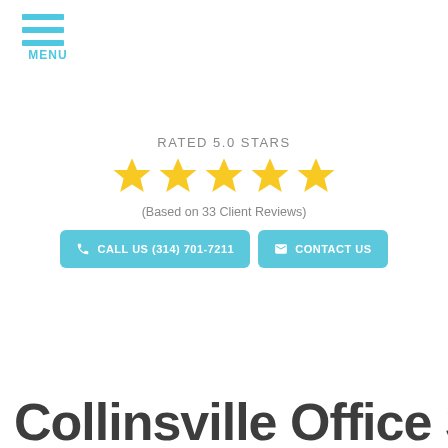[Figure (other): Hamburger menu icon with three horizontal blue lines and MENU label below]
RATED 5.0 STARS
[Figure (other): Five gold star rating icons in a row]
(Based on 33 Client Reviews)
CALL US (314) 701-7211
CONTACT US
Collinsville Office Signs